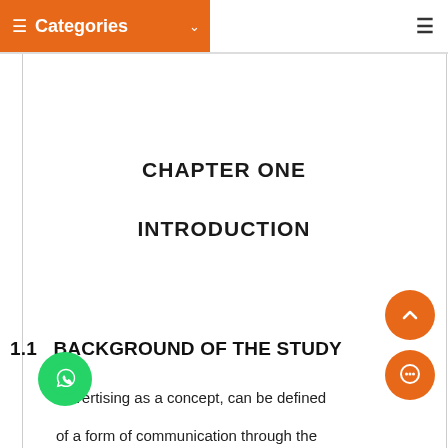≡  Categories  ∨
CHAPTER ONE
INTRODUCTION
1.1   BACKGROUND OF THE STUDY
Advertising as a concept, can be defined